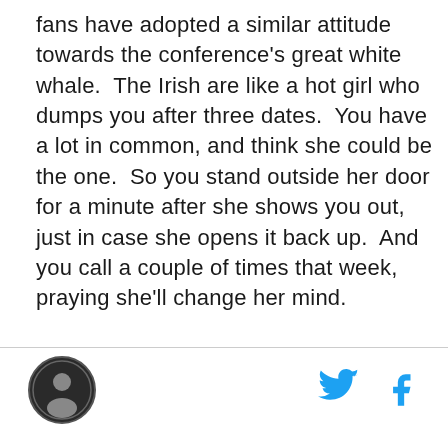fans have adopted a similar attitude towards the conference's great white whale.  The Irish are like a hot girl who dumps you after three dates.  You have a lot in common, and think she could be the one.  So you stand outside her door for a minute after she shows you out, just in case she opens it back up.  And you call a couple of times that week, praying she'll change her mind.
[Figure (logo): Circular logo with dark background and figure/person silhouette in center]